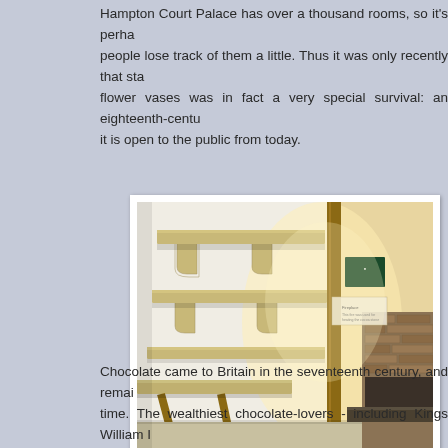Hampton Court Palace has over a thousand rooms, so it's perhaps understandable that people lose track of them a little. Thus it was only recently that staff discovered what they thought were flower vases was in fact a very special survival: an eighteenth-century chocolate kitchen. Now restored, it is open to the public from today.
[Figure (photo): Interior photograph of the restored eighteenth-century chocolate kitchen at Hampton Court Palace, showing wooden shelving with decorative brackets mounted on a white wall, a fold-down wooden table/shelf, a stone or tiled floor, a doorway with a wooden post, and a fireplace with brick surround visible on the right side.]
Chocolate came to Britain in the seventeenth century, and remained a luxury for a long time. The wealthiest chocolate-lovers - including Kings William I...